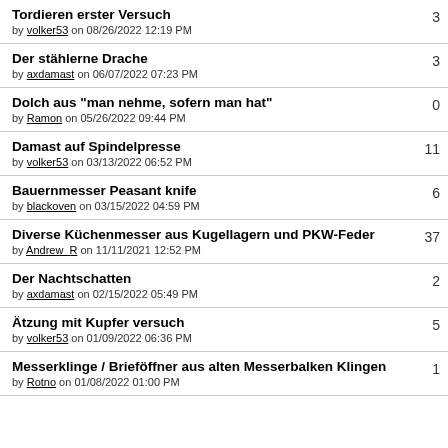Tordieren erster Versuch — by volker53 on 08/26/2022 12:19 PM — 3
Der stählerne Drache — by axdamast on 06/07/2022 07:23 PM — 3
Dolch aus "man nehme, sofern man hat" — by Ramon on 05/26/2022 09:44 PM — 0
Damast auf Spindelpresse — by volker53 on 03/13/2022 06:52 PM — 11
Bauernmesser Peasant knife — by blackoven on 03/15/2022 04:59 PM — 6
Diverse Küchenmesser aus Kugellagern und PKW-Feder — by Andrew_R on 11/11/2021 12:52 PM — 37
Der Nachtschatten — by axdamast on 02/15/2022 05:49 PM — 2
Ätzung mit Kupfer versuch — by volker53 on 01/09/2022 06:36 PM — 5
Messerklinge / Brieföffner aus alten Messerbalken Klingen — by Rotno on 01/08/2022 01:00 PM — 1